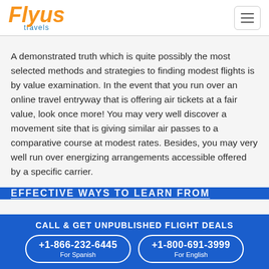Flyus Travels
A demonstrated truth which is quite possibly the most selected methods and strategies to finding modest flights is by value examination. In the event that you run over an online travel entryway that is offering air tickets at a fair value, look once more! You may very well discover a movement site that is giving similar air passes to a comparative course at modest rates. Besides, you may very well run over energizing arrangements accessible offered by a specific carrier.
CALL & GET UNPUBLISHED FLIGHT DEALS
+1-866-232-6445 For Spanish
+1-800-691-3999 For English